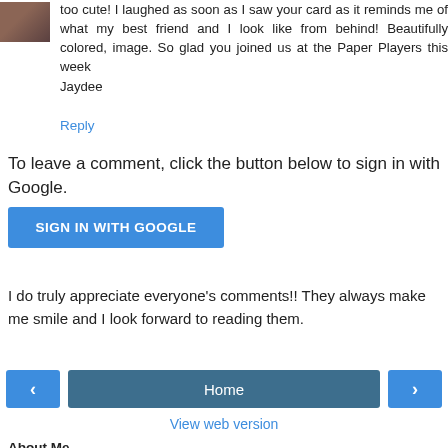too cute! I laughed as soon as I saw your card as it reminds me of what my best friend and I look like from behind! Beautifully colored, image. So glad you joined us at the Paper Players this week
Jaydee
Reply
To leave a comment, click the button below to sign in with Google.
[Figure (other): Blue button labeled SIGN IN WITH GOOGLE]
I do truly appreciate everyone's comments!! They always make me smile and I look forward to reading them.
[Figure (other): Navigation bar with left arrow button, Home button, and right arrow button]
View web version
About Me